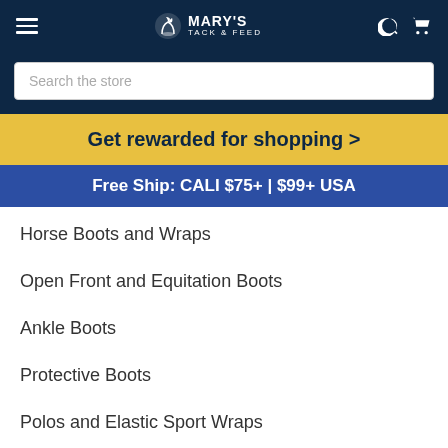Mary's Tack & Feed
Search the store
Get rewarded for shopping >
Free Ship: CALI $75+ | $99+ USA
Horse Boots and Wraps
Open Front and Equitation Boots
Ankle Boots
Protective Boots
Polos and Elastic Sport Wraps